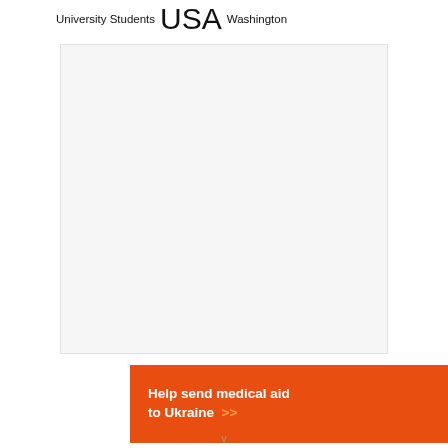University Students  USA  Washington
[Figure (other): Large light gray blank content area box]
[Figure (infographic): Orange advertisement banner reading 'Help send medical aid to Ukraine >>' with Direct Relief logo on the right]
v